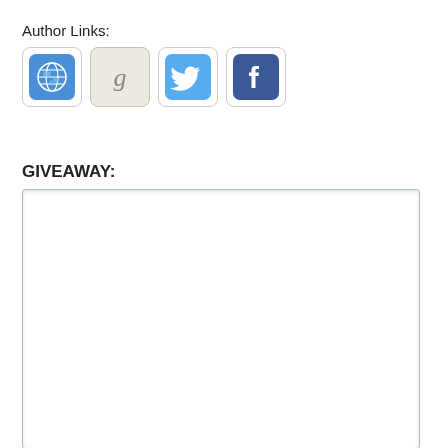Author Links:
[Figure (other): Row of four social/author link icons: globe/website icon, Goodreads 'g' icon, Twitter bird icon, Facebook 'f' icon]
GIVEAWAY:
[Figure (other): Empty white rectangular box for giveaway content (iframe or widget placeholder)]